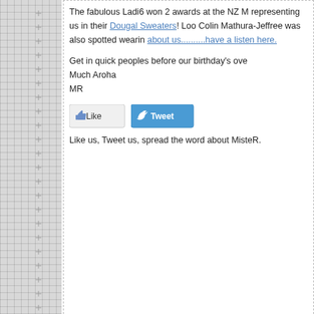The fabulous Ladi6 won 2 awards at the NZ M representing us in their Dougal Sweaters! Loo Colin Mathura-Jeffree was also spotted wearin about us..........have a listen here.
Get in quick peoples before our birthday's ove Much Aroha MR
[Figure (other): Social media buttons: Like button and Tweet button]
Like us, Tweet us, spread the word about MisteR.
« first   ‹ previous   1
SHOPPING CART
View your shopping cart.